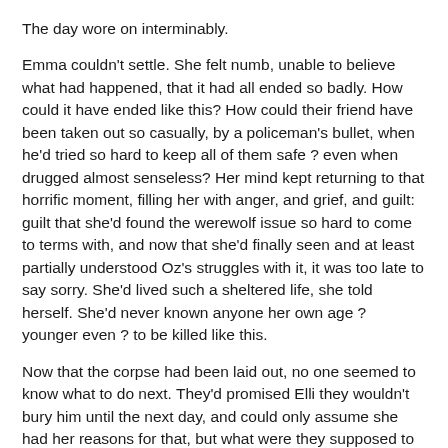The day wore on interminably.
Emma couldn't settle. She felt numb, unable to believe what had happened, that it had all ended so badly. How could it have ended like this? How could their friend have been taken out so casually, by a policeman's bullet, when he'd tried so hard to keep all of them safe ? even when drugged almost senseless? Her mind kept returning to that horrific moment, filling her with anger, and grief, and guilt: guilt that she'd found the werewolf issue so hard to come to terms with, and now that she'd finally seen and at least partially understood Oz's struggles with it, it was too late to say sorry. She'd lived such a sheltered life, she told herself. She'd never known anyone her own age ? younger even ? to be killed like this.
Now that the corpse had been laid out, no one seemed to know what to do next. They'd promised Elli they wouldn't bury him until the next day, and could only assume she had her reasons for that, but what were they supposed to do in the meantime? None of them had managed a wink of sleep all night, but despite their tiredness rest was the furthest thing from any of their minds. How could they just carry on with their lives as if nothing had happened, without even being able to follow any of the normal procedures in the event of a death?